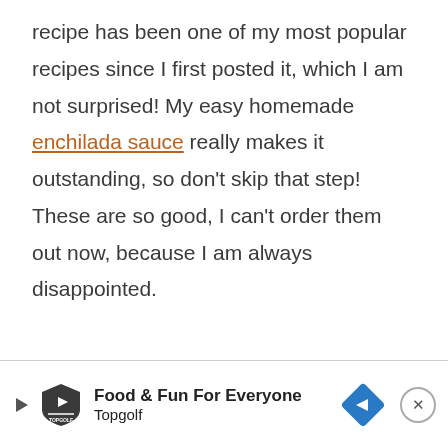recipe has been one of my most popular recipes since I first posted it, which I am not surprised! My easy homemade enchilada sauce really makes it outstanding, so don't skip that step! These are so good, I can't order them out now, because I am always disappointed.
[Figure (other): Advertisement banner for Topgolf with logo, play button, navigation arrow icon, and close button. Text reads 'Food & Fun For Everyone' and 'Topgolf'.]